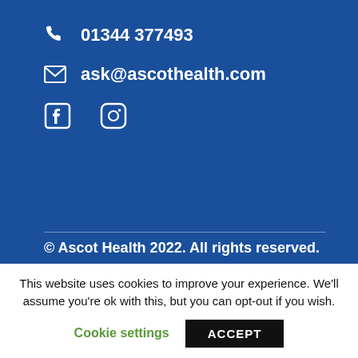📞 01344 377493
✉ ask@ascothealth.com
[Figure (other): Facebook and Instagram social media icons in white]
© Ascot Health 2022. All rights reserved.
This website uses cookies to improve your experience. We'll assume you're ok with this, but you can opt-out if you wish.
Cookie settings   ACCEPT